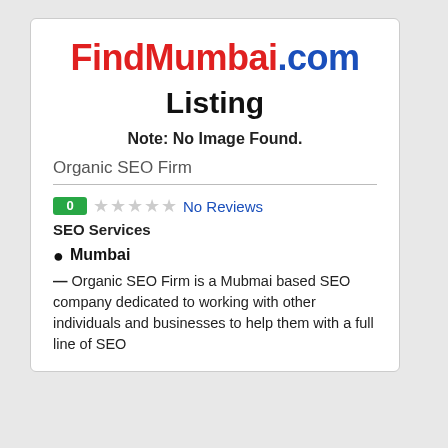FindMumbai.com
Listing
Note: No Image Found.
Organic SEO Firm
0  ☆☆☆☆☆  No Reviews
SEO Services
Mumbai
— Organic SEO Firm is a Mubmai based SEO company dedicated to working with other individuals and businesses to help them with a full line of SEO